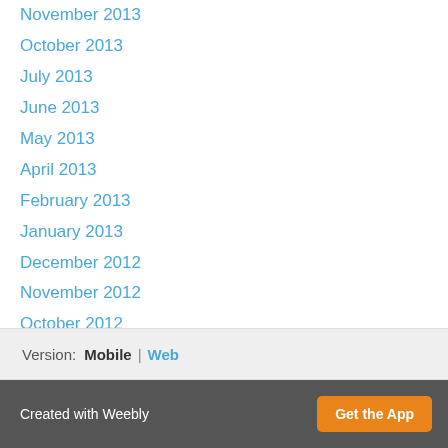November 2013
October 2013
July 2013
June 2013
May 2013
April 2013
February 2013
January 2013
December 2012
November 2012
October 2012
September 2012
May 2012
RSS Feed
Version: Mobile | Web
Created with Weebly  Get the App